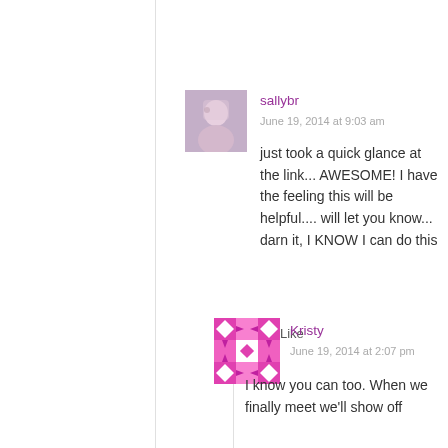sallybr
June 19, 2014 at 9:03 am
just took a quick glance at the link... AWESOME! I have the feeling this will be helpful.... will let you know... darn it, I KNOW I can do this
Like
Kristy
June 19, 2014 at 2:07 pm
I know you can too. When we finally meet we'll show off